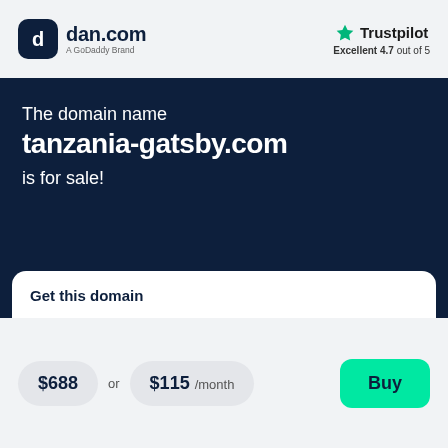[Figure (logo): dan.com logo with dark rounded square icon showing 'd' letter, followed by 'dan.com' text and 'A GoDaddy Brand' subtitle]
[Figure (logo): Trustpilot logo with green star icon and text 'Trustpilot', below: 'Excellent 4.7 out of 5']
The domain name tanzania-gatsby.com is for sale!
Get this domain
$688 or $115 /month
Buy